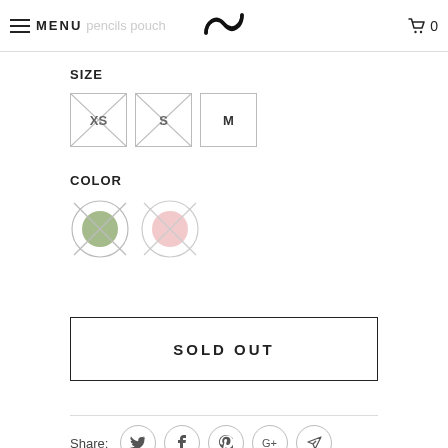MENU | pencils pouch | [logo] | 0
SIZE
[Figure (infographic): Three size option boxes: XS (crossed out), S (crossed out), M (available)]
COLOR
[Figure (infographic): Two color swatches: olive green circle (crossed out), pink/rose circle (crossed out)]
SOLD OUT
Share:
Category: Black, Navy Blue, Olive, Tangerine, Two